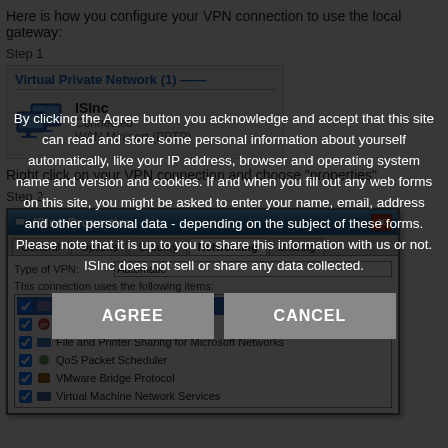Here is how you configure your VPN connection to use the local gateway:
Step 1
[Figure (screenshot): Windows VPN connections dialog showing 'Virtual Private Network (1)' section with an entry named 'ISInc', status 'Connected', type 'WAN Miniport (PPTP)']
Right click on your VPN connection and choose "properties"
Step 2
[Figure (screenshot): ISInc Properties dialog box with tabs (General, Options, Security, Networking, Sharing). Shows networking tab with type VPN, device Automatic, and components list including Internet Protocol Version, File and Printer Sharing for Microsoft Networks, QoS Packet Scheduler, VMware Bridge Protocol, Virtual Machine Network Services.]
By clicking the Agree button you acknowledge and accept that this site can read and store some personal information about yourself automatically, like your IP address, browser and operating system name and version and cookies. If and when you fill out any web forms on this site, you might be asked to enter your name, email, address and other personal data - depending on the subject of these forms. Please note that it is up to you to share this information with us or not. ISInc does not sell or share any data collected.